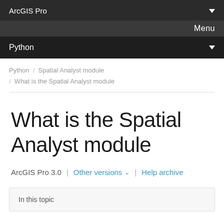ArcGIS Pro
Menu
Python
Python / Spatial Analyst module / What is the Spatial Analyst module
What is the Spatial Analyst module
ArcGIS Pro 3.0 | Other versions ∨ | Help archive
In this topic